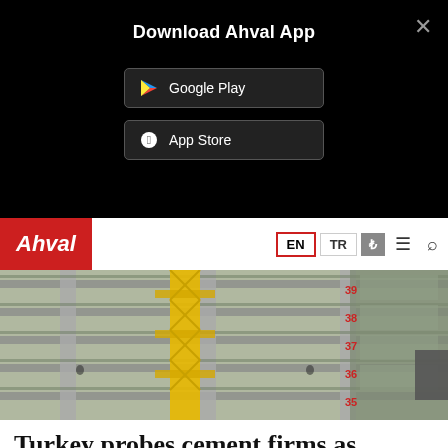Download Ahval App
[Figure (screenshot): Google Play and App Store download buttons on black background]
[Figure (photo): Construction building under construction with yellow crane and scaffolding, floor numbers 35-38 visible on right side]
Turkey probes cement firms as property prices rise at